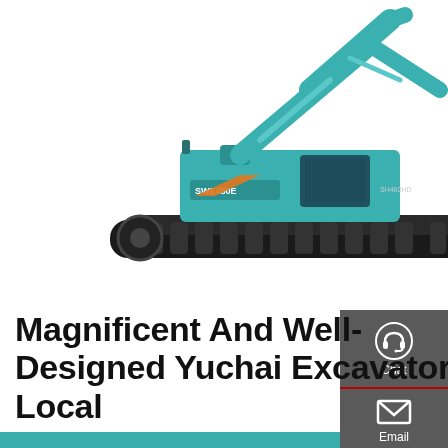[Figure (photo): Two teal/turquoise Yuchai excavators on white background — one full side view on the left showing tracked undercarriage and cab, one partial view on the right showing the arm and bucket]
Magnificent And Well-Designed Yuchai Excavators Local
Yuchai - New and Used Yuchai Excavators For Sale in Australia
[Figure (other): Dark button: Get a Quote]
[Figure (infographic): Right sidebar with Chat (headset icon), Email (envelope icon), and Contact (speech bubble icon) options on dark grey background]